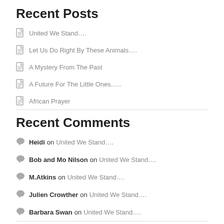Recent Posts
United We Stand….
Let Us Do Right By These Animals….
A Mystery From The Past
A Future For The Little Ones…..
African Prayer
Recent Comments
Heidi on United We Stand….
Bob and Mo Nilson on United We Stand….
M.Atkins on United We Stand….
Julien Crowther on United We Stand….
Barbara Swan on United We Stand….
Archives